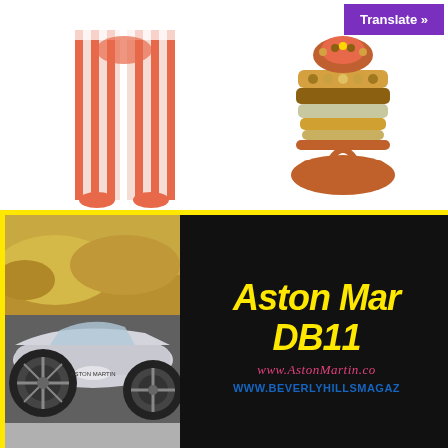[Figure (photo): Orange and white vertically striped fashion pants/leggings on a model, cropped view showing legs]
[Figure (photo): Orange/coral beaded strappy sandal flat shoe with decorative beads]
Translate »
[Figure (photo): Aston Martin DB11 promotional composite image: left half shows the wheel and front quarter panel of a silver/grey Aston Martin DB11 against a rocky landscape; right half is a black panel with yellow bold italic text 'Aston Martin DB11', cursive pink/red text 'www.AstonMartin.com', and bold blue text 'WWW.BEVERLYHILLSMAGAZINE...' All within a yellow border frame.]